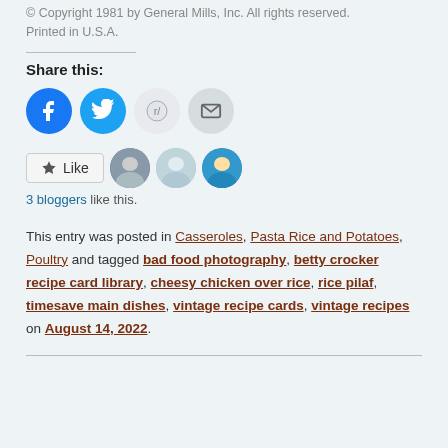© Copyright 1981 by General Mills, Inc. All rights reserved. Printed in U.S.A.
Share this:
[Figure (infographic): Social sharing buttons (Facebook, Twitter, Reddit, Email) and a Like button with 3 blogger avatars]
3 bloggers like this.
This entry was posted in Casseroles, Pasta Rice and Potatoes, Poultry and tagged bad food photography, betty crocker recipe card library, cheesy chicken over rice, rice pilaf, timesave main dishes, vintage recipe cards, vintage recipes on August 14, 2022.